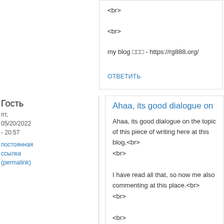<br>
<br>

my blog □□□ - https://rg888.org/
ответить
Гость
пт, 05/20/2022 - 20:57
постоянная ссылка (permalink)
Ahaa, its good dialogue on
Ahaa, its good dialogue on the topic of this piece of writing here at this blog,<br>
<br>

I have read all that, so now me also commenting at this place.<br>
<br>


<br>
<br>


<br>
<br>